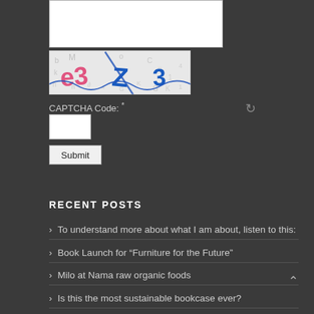[Figure (other): White textarea input box at top of page]
[Figure (other): CAPTCHA image showing distorted characters e3 Z 3 with blue wavy lines and refresh icon]
CAPTCHA Code: *
[Figure (other): White CAPTCHA text input box]
[Figure (other): Submit button]
RECENT POSTS
To understand more about what I am about, listen to this:
Book Launch for "Furniture for the Future"
Milo at Nama raw organic foods
Is this the most sustainable bookcase ever?